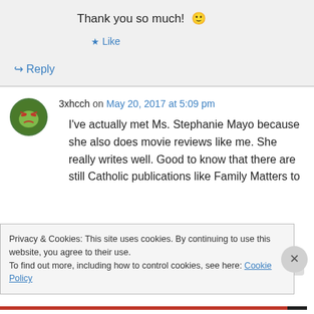Thank you so much! 🙂
★ Like
↪ Reply
3xhcch on May 20, 2017 at 5:09 pm
I've actually met Ms. Stephanie Mayo because she also does movie reviews like me. She really writes well. Good to know that there are still Catholic publications like Family Matters to
Privacy & Cookies: This site uses cookies. By continuing to use this website, you agree to their use.
To find out more, including how to control cookies, see here: Cookie Policy
Close and accept